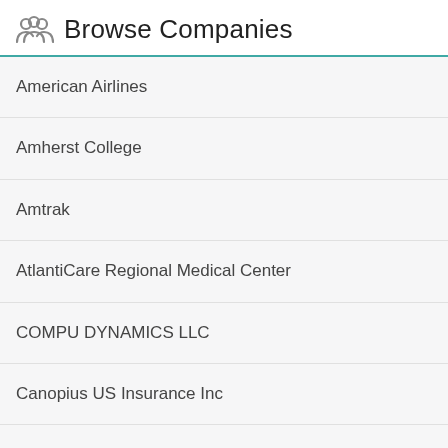Browse Companies
American Airlines
Amherst College
Amtrak
AtlantiCare Regional Medical Center
COMPU DYNAMICS LLC
Canopius US Insurance Inc
Consolidated Supply Co